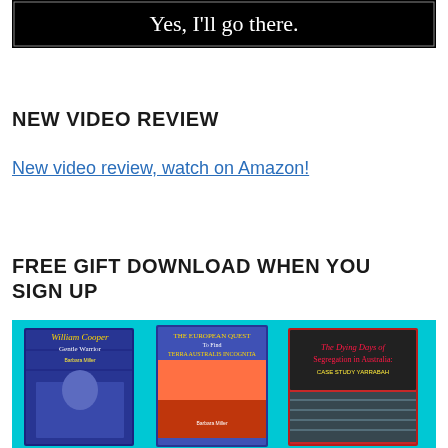[Figure (screenshot): Black banner image with white serif text reading 'Yes, I'll go there.']
NEW VIDEO REVIEW
New video review, watch on Amazon!
FREE GIFT DOWNLOAD WHEN YOU SIGN UP
[Figure (photo): Three book covers on a teal/cyan background: 'William Cooper Gentle Warrior' by Barbara Miller, 'The European Quest to Find Terra Australis Incognita' by Barbara Miller, and 'The Dying Days of Segregation in Australia: Case Study Yarrabah']